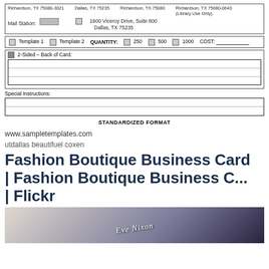[Figure (other): Form section showing address fields: Richardson TX 75080-3021, Dallas TX 75235, Richardson TX 75080, Richardson TX 75080-0643 (Library Use Only), Mail Station checkbox, 1600 Viceroy Drive Suite 800 Dallas TX 75235]
[Figure (other): Template selection row with checkboxes for Template 1, Template 2, QUANTITY: 250, 500, 1000, and COST field]
[Figure (other): 2-Sided Back of Card section with three lined text entry rows]
[Figure (other): Special Instructions section with two lined text entry rows and STANDARDIZED FORMAT label]
www.sampletemplates.com
utdallas beautifuel coxen
Fashion Boutique Business Card | Fashion Boutique Business C... | Flickr
[Figure (photo): Photo of a business card with name Eve Nixon on a dark background]